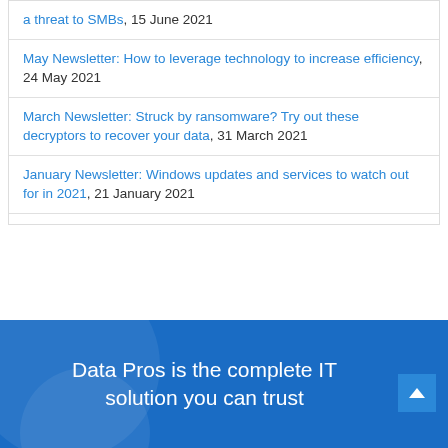a threat to SMBs, 15 June 2021
May Newsletter: How to leverage technology to increase efficiency, 24 May 2021
March Newsletter: Struck by ransomware? Try out these decryptors to recover your data, 31 March 2021
January Newsletter: Windows updates and services to watch out for in 2021, 21 January 2021
Data Pros is the complete IT solution you can trust